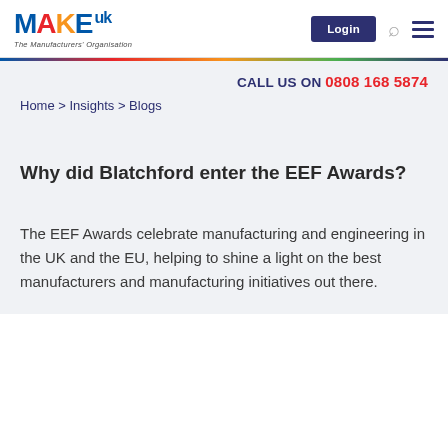[Figure (logo): MAKE UK logo - The Manufacturers' Organisation, with M in blue, A in red, K in orange, E in blue, uk in blue superscript]
Login
CALL US ON 0808 168 5874
Home > Insights > Blogs
Why did Blatchford enter the EEF Awards?
The EEF Awards celebrate manufacturing and engineering in the UK and the EU, helping to shine a light on the best manufacturers and manufacturing initiatives out there.